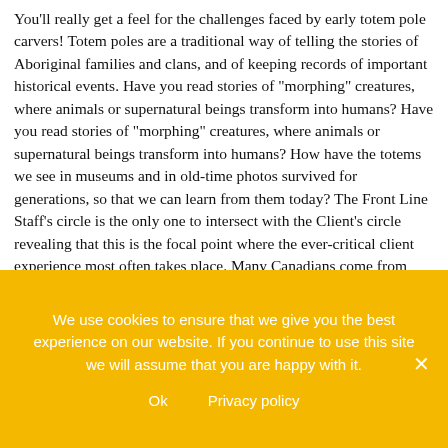You'll really get a feel for the challenges faced by early totem pole carvers! Totem poles are a traditional way of telling the stories of Aboriginal families and clans, and of keeping records of important historical events. Have you read stories of "morphing" creatures, where animals or supernatural beings transform into humans? Have you read stories of "morphing" creatures, where animals or supernatural beings transform into humans? How have the totems we see in museums and in old-time photos survived for generations, so that we can learn from them today? The Front Line Staff's circle is the only one to intersect with the Client's circle revealing that this is the focal point where the ever-critical client experience most often takes place. Many Canadians come from cultures around the world that possess crests, coats of arms or other symbols that strongly identify them. But sometimes it's harder to identify them on a totem pole! In a way Americans have it all wrong when it comes to totem poles. This is why it is imperative to have your front line team members know your company's mission
We use cookies to ensure that we give you the best experience on our website. If you continue to use this site we will assume that you are happy with it.